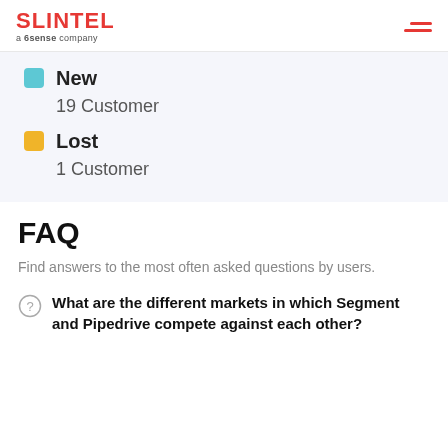SLINTEL a 6sense company
New
19 Customer
Lost
1 Customer
FAQ
Find answers to the most often asked questions by users.
What are the different markets in which Segment and Pipedrive compete against each other?